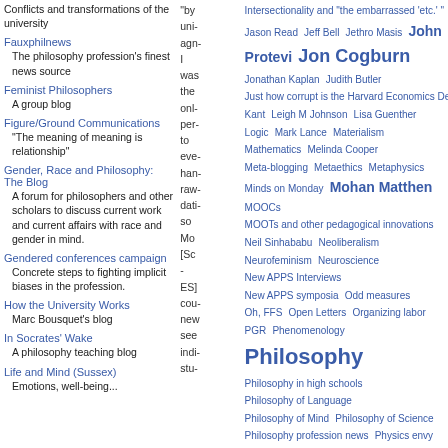Conflicts and transformations of the university
Fauxphilnews - The philosophy profession's finest news source
Feminist Philosophers - A group blog
Figure/Ground Communications - "The meaning of meaning is relationship"
Gender, Race and Philosophy: The Blog - A forum for philosophers and other scholars to discuss current work and current affairs with race and gender in mind.
Gendered conferences campaign - Concrete steps to fighting implicit biases in the profession.
How the University Works - Marc Bousquet's blog
In Socrates' Wake - A philosophy teaching blog
Life and Mind (Sussex) - Emotions, well-being...
"by uni- agn- I was the onl- per- to eve- han- raw- dati- so Mo [Sc - ES] cou- new see indi- stu-"
Tag cloud: Intersectionality and 'the embarrassed etc.' Jason Read Jeff Bell Jethro Masis John Protevi Jon Cogburn Jonathan Kaplan Judith Butler Just how corrupt is the Harvard Economics Department, anyway? Kant Leigh M Johnson Lisa Guenther Logic Mark Lance Materialism Mathematics Melinda Cooper Meta-blogging Metaethics Metaphysics Minds on Monday Mohan Matthen MOOCs MOOTs and other pedagogical innovations Neil Sinhababu Neoliberalism Neurofeminism Neuroscience New APPS Interviews New APPS symposia Odd measures Oh, FFS Open Letters Organizing labor PGR Phenomenology Philosophy Philosophy in high schools Philosophy of Language Philosophy of Mind Philosophy of Science Philosophy profession news Physics envy Placement data Political Affect Political Economy Political Economy of higher education Political murders Politics Prisons Privacy Psychology punkrockmonday Race, (anti-)racism, race theory Racism Religion Retractions Reviews Roberta Millstein Salaita